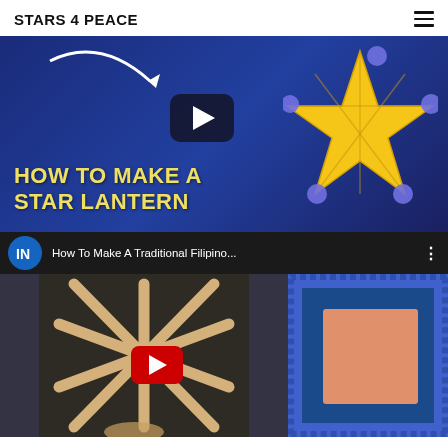STARS 4 PEACE
[Figure (screenshot): YouTube video thumbnail showing 'HOW TO MAKE A STAR LANTERN' with a glowing yellow star lantern on a blue background and a play button in the center]
[Figure (screenshot): YouTube video embed showing 'How To Make A Traditional Filipino...' with an IN channel logo, showing wooden sticks arranged in a star pattern on the left and a blue decorative lantern on the right, with a red YouTube play button overlay]